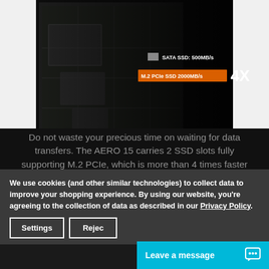[Figure (photo): Close-up photo of an M.2 PCIe SSD installed on a laptop motherboard/circuit board, with dark background. Overlaid speed comparison labels: 'SATA SSD: 500MB/s' with a gray box, and 'M.2 PCIe SSD 2000MB/s' with an orange box, plus large white '4X' text.]
Do not waste your precious time on waiting for data transfers. The AERO 15 carries 2 SSD slots fully supporting M.2 PCIe, which is more than 4 times faster than SATA3 SSD, thus decreasing data transfer
We use cookies (and other similar technologies) to collect data to improve your shopping experience. By using our website, you're agreeing to the collection of data as described in our Privacy Policy.
Settings | Reject
Leave a message